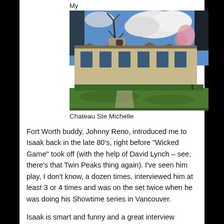My
[Figure (photo): Outdoor photo of Chateau Ste Michelle, a large French-style stone mansion with green lawn, bare trees, blooming pink cherry tree, and blue sky with white clouds.]
Chateau Ste Michelle
Fort Worth buddy, Johnny Reno, introduced me to Isaak back in the late 80's, right before “Wicked Game” took off (with the help of David Lynch – see, there’s that Twin Peaks thing again). I’ve seen him play, I don’t know, a dozen times, interviewed him at least 3 or 4 times and was on the set twice when he was doing his Showtime series in Vancouver.
Isaak is smart and funny and a great interview because his go-to conversational mode is self-deprecating one-liners. It’s why he’s great on talk shows, why his stage patter is often as entertaining as the music. He comes out in those Nudie-